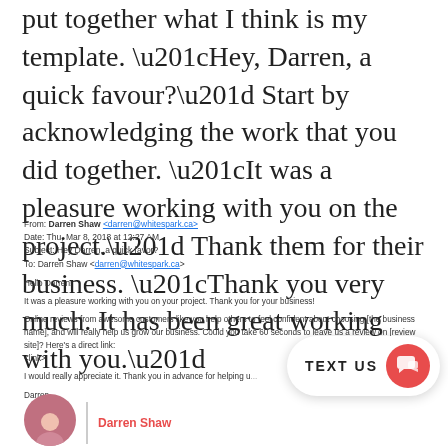put together what I think is my template. “Hey, Darren, a quick favour?” Start by acknowledging the work that you did together. “It was a pleasure working with you on the project.” Thank them for their business. “Thank you very much. It has been great working with you.”
From: Darren Shaw <darren@whitespark.ca>
Date: Thu, Mar 8, 2018 at 12:27 AM
Subject: Hey Darren, a quick favor?
To: Darren Shaw <darren@whitespark.ca>

Hello Darren!

It was a pleasure working with you on your project. Thank you for your business!

Online reviews from awesome customers like you help others to feel confident about choosing [the business name], and will really help us grow our business. Could you take 60 seconds to leave us a review on [review site]? Here’s a direct link: <link>

I would really appreciate it. Thank you in advance for helping u...

Darren
[Figure (other): TEXT US widget with red chat icon button]
Darren Shaw